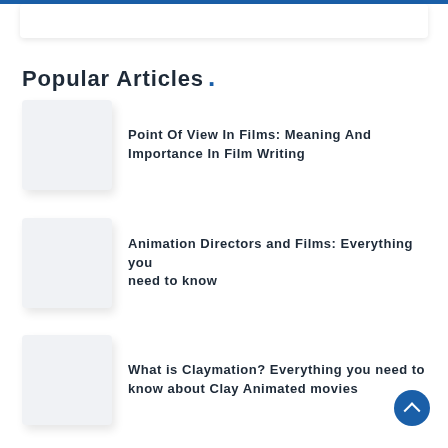Popular Articles .
Point Of View In Films: Meaning And Importance In Film Writing
Animation Directors and Films: Everything you need to know
What is Claymation? Everything you need to know about Clay Animated movies